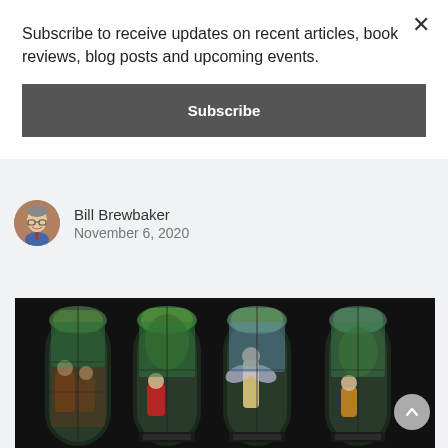Subscribe to receive updates on recent articles, book reviews, blog posts and upcoming events.
Subscribe
Bill Brewbaker
November 6, 2020
[Figure (photo): Stained glass church windows depicting religious scenes including figures in robes, an angel, and garden settings. Four narrow arched panels shown against a black background.]